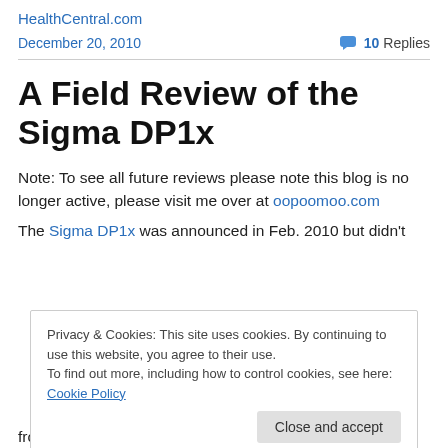HealthCentral.com
December 20, 2010   10 Replies
A Field Review of the Sigma DP1x
Note: To see all future reviews please note this blog is no longer active, please visit me over at oopoomoo.com
The Sigma DP1x was announced in Feb. 2010 but didn't
Privacy & Cookies: This site uses cookies. By continuing to use this website, you agree to their use. To find out more, including how to control cookies, see here: Cookie Policy
from 4 to 12 times larger than the average point n shoot